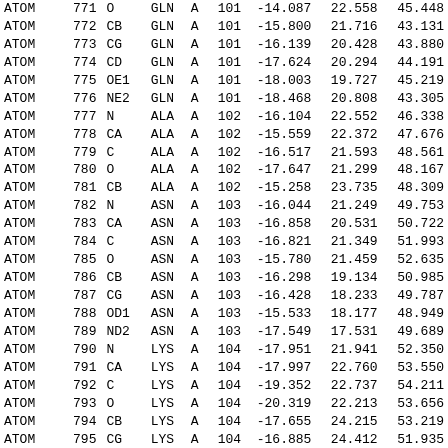|  |  |  |  |  |  |  |  |  |
| --- | --- | --- | --- | --- | --- | --- | --- | --- |
| ATOM | 771 | O | GLN | A | 101 | -14.087 | 22.558 | 45.448 |
| ATOM | 772 | CB | GLN | A | 101 | -15.800 | 21.716 | 43.131 |
| ATOM | 773 | CG | GLN | A | 101 | -16.139 | 20.428 | 43.880 |
| ATOM | 774 | CD | GLN | A | 101 | -17.624 | 20.294 | 44.191 |
| ATOM | 775 | OE1 | GLN | A | 101 | -18.003 | 19.727 | 45.219 |
| ATOM | 776 | NE2 | GLN | A | 101 | -18.468 | 20.808 | 43.305 |
| ATOM | 777 | N | ALA | A | 102 | -16.104 | 22.552 | 46.338 |
| ATOM | 778 | CA | ALA | A | 102 | -15.559 | 22.372 | 47.676 |
| ATOM | 779 | C | ALA | A | 102 | -16.517 | 21.593 | 48.561 |
| ATOM | 780 | O | ALA | A | 102 | -17.647 | 21.299 | 48.167 |
| ATOM | 781 | CB | ALA | A | 102 | -15.258 | 23.735 | 48.309 |
| ATOM | 782 | N | ASN | A | 103 | -16.044 | 21.249 | 49.753 |
| ATOM | 783 | CA | ASN | A | 103 | -16.858 | 20.531 | 50.722 |
| ATOM | 784 | C | ASN | A | 103 | -16.821 | 21.349 | 51.993 |
| ATOM | 785 | O | ASN | A | 103 | -15.780 | 21.459 | 52.635 |
| ATOM | 786 | CB | ASN | A | 103 | -16.298 | 19.134 | 50.985 |
| ATOM | 787 | CG | ASN | A | 103 | -16.428 | 18.233 | 49.787 |
| ATOM | 788 | OD1 | ASN | A | 103 | -15.533 | 18.177 | 48.949 |
| ATOM | 789 | ND2 | ASN | A | 103 | -17.549 | 17.531 | 49.689 |
| ATOM | 790 | N | LYS | A | 104 | -17.951 | 21.941 | 52.350 |
| ATOM | 791 | CA | LYS | A | 104 | -17.997 | 22.760 | 53.550 |
| ATOM | 792 | C | LYS | A | 104 | -19.352 | 22.737 | 54.211 |
| ATOM | 793 | O | LYS | A | 104 | -20.319 | 22.213 | 53.656 |
| ATOM | 794 | CB | LYS | A | 104 | -17.655 | 24.215 | 53.219 |
| ATOM | 795 | CG | LYS | A | 104 | -16.885 | 24.412 | 51.935 |
| ATOM | 796 | CD | LYS | A | 104 | -17.387 | 25.633 | 51.203 |
| ATOM | 797 | CE | LYS | A | 104 | -17.022 | 26.898 | 51.941 |
| ATOM | 798 | NZ | LYS | A | 104 | -16.649 | 27.971 | 50.974 |
| ATOM | 799 | N | HIS | A | 105 | -19.410 | 23.308 | 55.409 |
| ATOM | 800 | CA | HIS | A | 105 | -20.666 | 23.402 | 56.135 |
| ATOM | 801 | C | HIS | A | 105 | -21.419 | 24.537 | 55.531 |